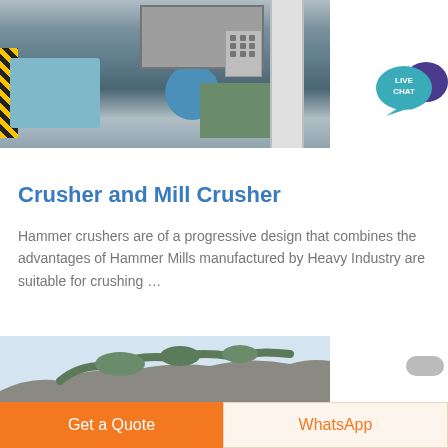[Figure (photo): Industrial hammer crusher/mill machinery with blue housing, blue motor, green machinery base, and yellow-black hazard striping on left side]
Crusher and Mill Crusher
Hammer crushers are of a progressive design that combines the advantages of Hammer Mills manufactured by Heavy Industry are suitable for crushing …
[Figure (photo): Rocky hillside quarry with green vegetation on rocky cliff face against light sky]